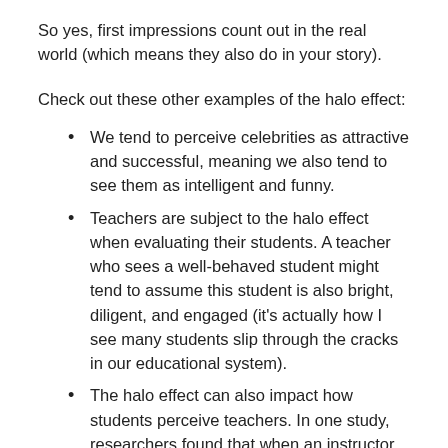So yes, first impressions count out in the real world (which means they also do in your story).
Check out these other examples of the halo effect:
We tend to perceive celebrities as attractive and successful, meaning we also tend to see them as intelligent and funny.
Teachers are subject to the halo effect when evaluating their students. A teacher who sees a well-behaved student might tend to assume this student is also bright, diligent, and engaged (it's actually how I see many students slip through the cracks in our educational system).
The halo effect can also impact how students perceive teachers. In one study, researchers found that when an instructor was viewed as warm and friendly, students also rated him as more attractive, appealing, and likable (I'm glad I made it a point to smile at my students